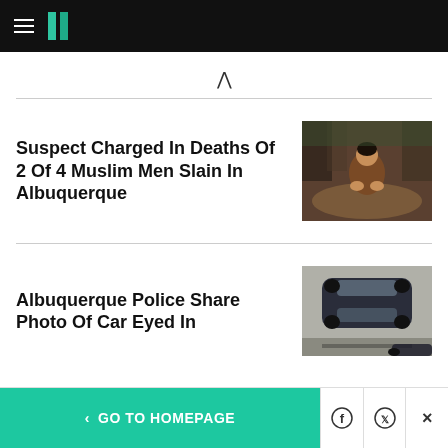HuffPost navigation header
Suspect Charged In Deaths Of 2 Of 4 Muslim Men Slain In Albuquerque
[Figure (photo): Man crouching and grieving at burial mound surrounded by people]
Albuquerque Police Share Photo Of Car Eyed In
[Figure (photo): Dark blue sedan viewed from above, appearing to be a surveillance photo of a vehicle of interest]
< GO TO HOMEPAGE | Facebook | Twitter | X